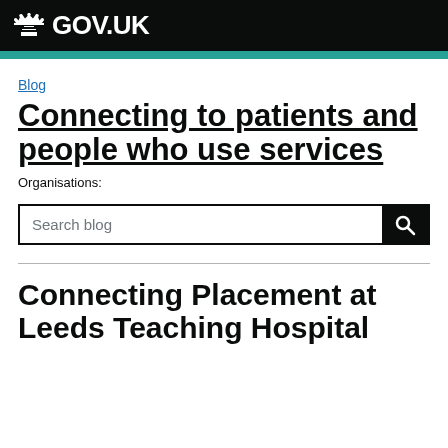GOV.UK
Blog
Connecting to patients and people who use services
Organisations:
Search blog
Connecting Placement at Leeds Teaching Hospital